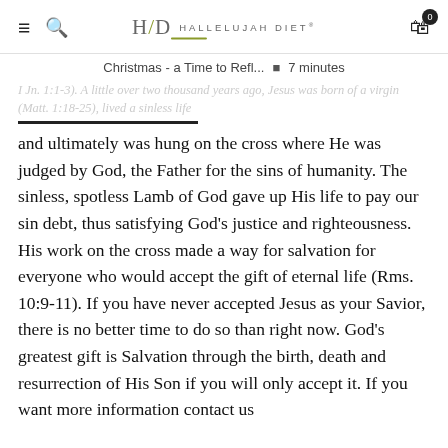≡  🔍  H|D HALLELUJAH DIET  🛒 0
Christmas - a Time to Refl...  •  7 minutes
I Jn. 1:1-3). A little over two thousand years ago, Jesus was born of a virgin (Matt. 1:18-25), lived a sinless life
and ultimately was hung on the cross where He was judged by God, the Father for the sins of humanity. The sinless, spotless Lamb of God gave up His life to pay our sin debt, thus satisfying God's justice and righteousness. His work on the cross made a way for salvation for everyone who would accept the gift of eternal life (Rms. 10:9-11). If you have never accepted Jesus as your Savior, there is no better time to do so than right now. God's greatest gift is Salvation through the birth, death and resurrection of His Son if you will only accept it. If you want more information contact us